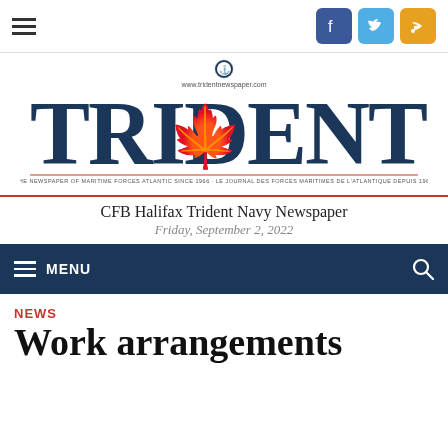[Figure (logo): Trident newspaper logo with maple leaf and crest, www.tridentnewspaper.com, THE NEWSPAPER OF MARITIME FORCES ATLANTIC SINCE 1966 · LE JOURNAL DES FORCES MARITIMES DE L'ATLANTIQUE DEPUIS 1966]
CFB Halifax Trident Navy Newspaper
Friday, September 2, 2022
NEWS
Work arrangements